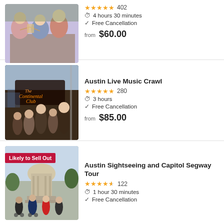[Figure (photo): Group of women toasting with wine glasses outdoors at a table]
★★★★★ 402
⏱ 4 hours 30 minutes
✓ Free Cancellation
from $60.00
Austin Live Music Crawl
[Figure (photo): Group of people posing in front of The Continental Club music venue in Austin]
★★★★★ 280
⏱ 3 hours
✓ Free Cancellation
from $85.00
Austin Sightseeing and Capitol Segway Tour
[Figure (photo): Group of people on Segways in front of the Texas State Capitol building, with 'Likely to Sell Out' badge]
★★★★½ 122
⏱ 1 hour 30 minutes
✓ Free Cancellation